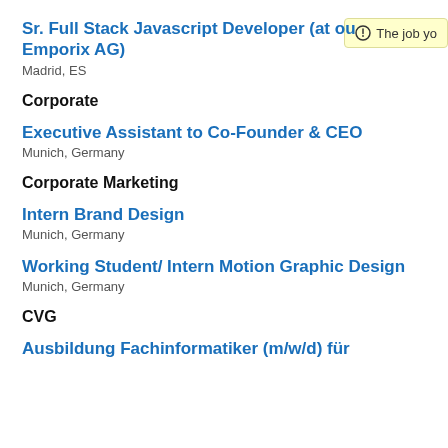Sr. Full Stack Javascript Developer (at our Emporix AG)
Madrid, ES
Corporate
Executive Assistant to Co-Founder & CEO
Munich, Germany
Corporate Marketing
Intern Brand Design
Munich, Germany
Working Student/ Intern Motion Graphic Design
Munich, Germany
CVG
Ausbildung Fachinformatiker (m/w/d) für